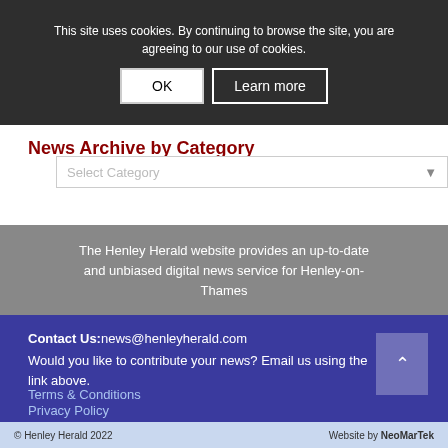This site uses cookies. By continuing to browse the site, you are agreeing to our use of cookies.
OK | Learn more
News Archive by Category
Select Category
The Henley Herald website provides an up-to-date and unbiased digital news service for Henley-on-Thames
Contact Us: news@henleyherald.com
Would you like to contribute your news? Email us using the link above.
Terms & Conditions
Privacy Policy
© Henley Herald 2022     Website by NeoMarTek